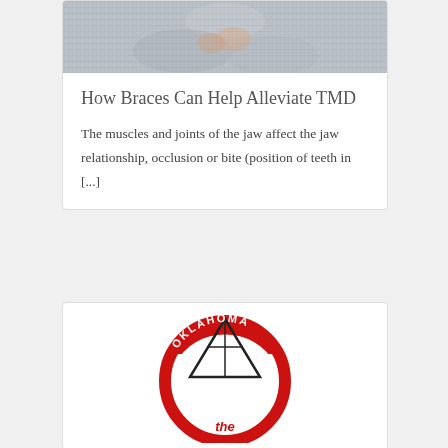[Figure (photo): Person wearing a grey knit sweater, photo cropped showing torso/hands area, appears to be clutching chest or jaw area]
How Braces Can Help Alleviate TMD
The muscles and joints of the jaw affect the jaw relationship, occlusion or bite (position of teeth in [...]
[Figure (logo): Oklahoma dental association logo — circular red and white badge with a triangular/mountain graphic and text reading OKLAHOMA, with 'the' visible at the bottom]